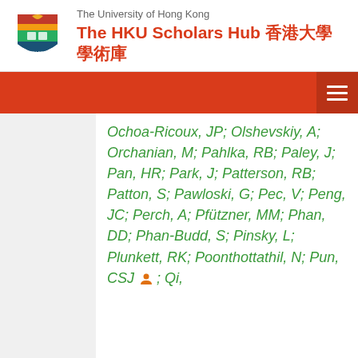The University of Hong Kong — The HKU Scholars Hub 香港大學學術庫
Ochoa-Ricoux, JP; Olshevskiy, A; Orchanian, M; Pahlka, RB; Paley, J; Pan, HR; Park, J; Patterson, RB; Patton, S; Pawloski, G; Pec, V; Peng, JC; Perch, A; Pfützner, MM; Phan, DD; Phan-Budd, S; Pinsky, L; Plunkett, RK; Poonthottathil, N; Pun, CSJ [person icon]; Qi,